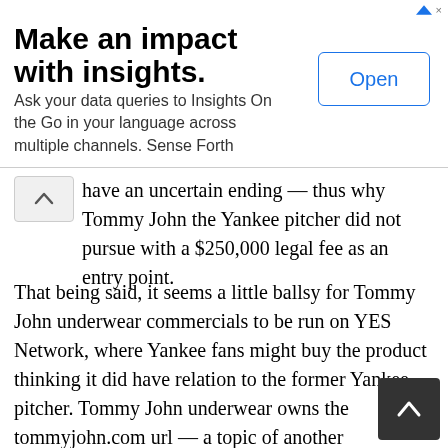[Figure (screenshot): Advertisement banner: 'Make an impact with insights. Ask your data queries to Insights On the Go in your language across multiple channels. Sense Forth' with an Open button]
have an uncertain ending — thus why Tommy John the Yankee pitcher did not pursue with a $250,000 legal fee as an entry point.
That being said, it seems a little ballsy for Tommy John underwear commercials to be run on YES Network, where Yankee fans might buy the product thinking it did have relation to the former Yankee pitcher. Tommy John underwear owns the tommyjohn.com url — a topic of another conversation (the importance of baseball players owning their name url).
Tommy John's 'Not' Hall of Fame Career
That stat about Sandy Koufax above comes from Tommy John himself, who finished with 288 career wins but is not in the Hall of Fame, to his chagrin. "I won 164 games after surgery," John said in the interview with Sporting News. "That